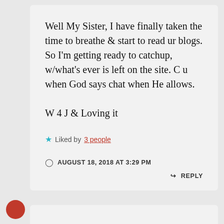Well My Sister, I have finally taken the time to breathe & start to read ur blogs. So I'm getting ready to catchup, w/what's ever is left on the site. C u when God says chat when He allows.

W 4 J & Loving it
★ Liked by 3 people
AUGUST 18, 2018 AT 3:29 PM
↳ REPLY